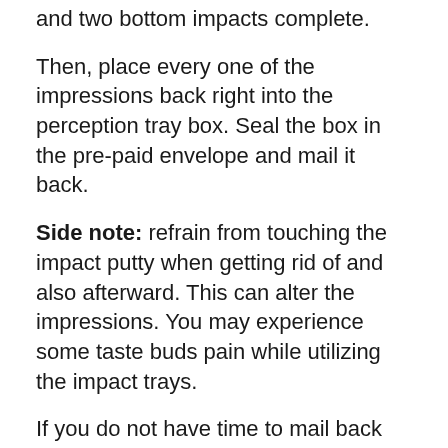and two bottom impacts complete.
Then, place every one of the impressions back right into the perception tray box. Seal the box in the pre-paid envelope and mail it back.
Side note: refrain from touching the impact putty when getting rid of and also afterward. This can alter the impressions. You may experience some taste buds pain while utilizing the impact trays.
If you do not have time to mail back your impacts, arrange an at-home USPS pick-up.
2. Aligners & Remote Surveillance